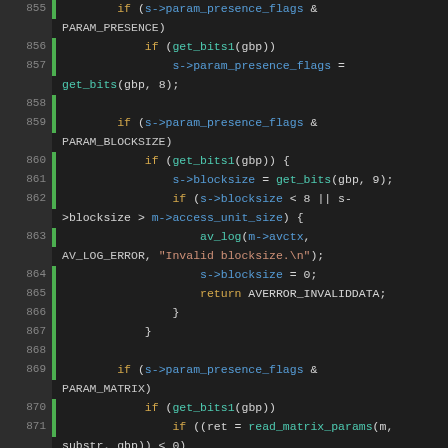[Figure (screenshot): Source code viewer showing C code lines 855-878 with syntax highlighting. Line numbers in left gutter with green vertical bar separator. Keywords in orange, identifiers/struct members in blue, functions in teal, on dark background.]